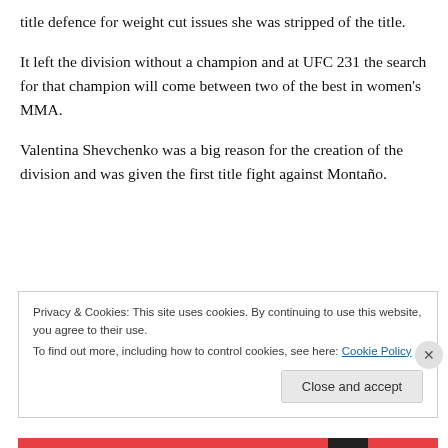title defence for weight cut issues she was stripped of the title.
It left the division without a champion and at UFC 231 the search for that champion will come between two of the best in women’s MMA.
Valentina Shevchenko was a big reason for the creation of the division and was given the first title fight against Montaño.
Privacy & Cookies: This site uses cookies. By continuing to use this website, you agree to their use.
To find out more, including how to control cookies, see here: Cookie Policy